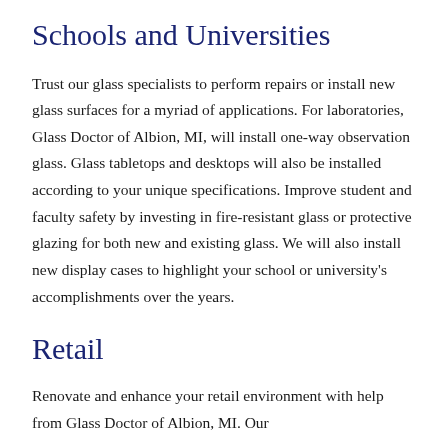Schools and Universities
Trust our glass specialists to perform repairs or install new glass surfaces for a myriad of applications. For laboratories, Glass Doctor of Albion, MI, will install one-way observation glass. Glass tabletops and desktops will also be installed according to your unique specifications. Improve student and faculty safety by investing in fire-resistant glass or protective glazing for both new and existing glass. We will also install new display cases to highlight your school or university's accomplishments over the years.
Retail
Renovate and enhance your retail environment with help from Glass Doctor of Albion, MI. Our